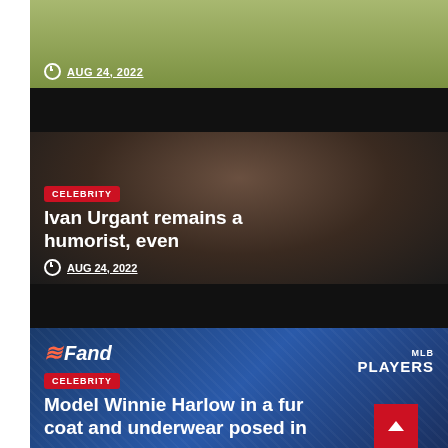[Figure (photo): Partial top card showing a person with blonde/green background, celebrity article thumbnail]
AUG 24, 2022
[Figure (photo): Dark photo of a man wearing a black cap with beard, Ivan Urgant celebrity article]
CELEBRITY
Ivan Urgant remains a humorist, even
AUG 24, 2022
[Figure (photo): Photo of model Winnie Harlow at a Fanduel/Players event, blue branded background]
CELEBRITY
Model Winnie Harlow in a fur coat and underwear posed in